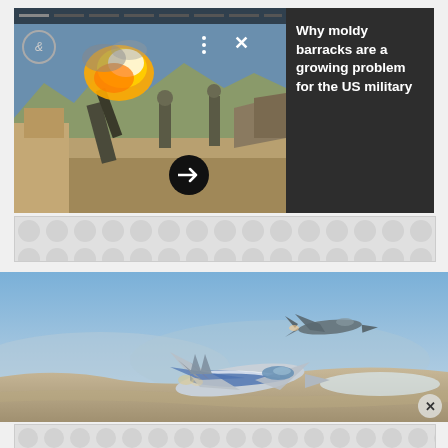[Figure (photo): Military scene showing soldiers operating an artillery piece or rocket launcher firing with a large explosion/flame, set against a mountainous desert landscape. Dark overlay panel on the right shows text about moldy barracks.]
Why moldy barracks are a growing problem for the US military
[Figure (illustration): Advertisement placeholder banner with repeating dot/circle pattern on grey background]
[Figure (photo): Two military fighter jets (F-15 and F-16 style) flying over a desert/arid landscape with mountains, one jet is blue-and-white painted, the other grey]
[Figure (illustration): Advertisement placeholder banner with repeating dot/circle pattern on grey background]